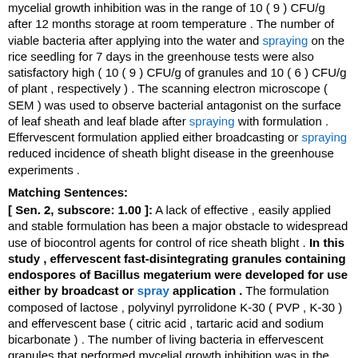mycelial growth inhibition was in the range of 10 ( 9 ) CFU/g after 12 months storage at room temperature . The number of viable bacteria after applying into the water and spraying on the rice seedling for 7 days in the greenhouse tests were also satisfactory high ( 10 ( 9 ) CFU/g of granules and 10 ( 6 ) CFU/g of plant , respectively ) . The scanning electron microscope ( SEM ) was used to observe bacterial antagonist on the surface of leaf sheath and leaf blade after spraying with formulation . Effervescent formulation applied either broadcasting or spraying reduced incidence of sheath blight disease in the greenhouse experiments .
Matching Sentences:
[ Sen. 2, subscore: 1.00 ]: A lack of effective , easily applied and stable formulation has been a major obstacle to widespread use of biocontrol agents for control of rice sheath blight . In this study , effervescent fast-disintegrating granules containing endospores of Bacillus megaterium were developed for use either by broadcast or spray application . The formulation composed of lactose , polyvinyl pyrrolidone K-30 ( PVP , K-30 ) and effervescent base ( citric acid , tartaric acid and sodium bicarbonate ) . The number of living bacteria in effervescent granules that performed mycelial growth inhibition was in the range of 10 ( 9 ) CFU/g after 12 months storage at room temperature . The number of viable bacteria after applying into the water and spraying on the rice seedling for 7 days in the greenhouse tests were also satisfactory high ( 10 ( 9 ) CFU/g of granules and 10 ( 6 ) CFU/g of plant , respectively ) . The scanning electron microscope ( SEM ) was used to observe bacterial antagonist on the surface of leaf sheath and leaf blade after spraying with formulation . Effervescent formulation applied either broadcasting or spraying reduced incidence of sheath blight disease in the greenhouse experiments .
[ Sen. 5, subscore: 1.00 ]: A lack of effective , easily applied and stable